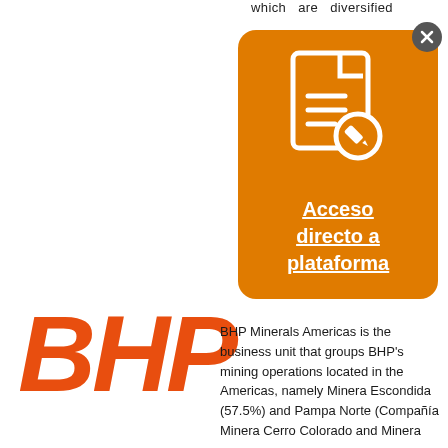which are diversified
[Figure (infographic): Orange rounded rectangle popup card with a white document/edit icon at the top and bold white underlined text 'Acceso directo a plataforma'. A close button (dark circle with X) appears at the top-right corner of the card.]
[Figure (logo): BHP logo in large bold orange italic text]
BHP Minerals Americas is the business unit that groups BHP’s mining operations located in the Americas, namely Minera Escondida (57.5%) and Pampa Norte (Compañía Minera Cerro Colorado and Minera